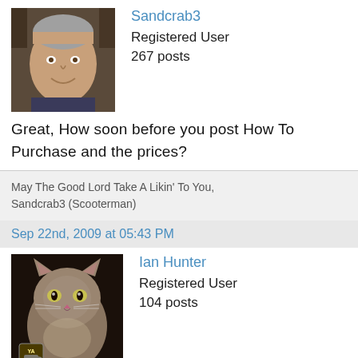[Figure (photo): Profile photo of a middle-aged man with gray hair, smiling]
Sandcrab3
Registered User
267 posts
Great, How soon before you post How To Purchase and the prices?
May The Good Lord Take A Likin' To You,
Sandcrab3 (Scooterman)
Sep 22nd, 2009 at 05:43 PM
[Figure (photo): Profile photo of a fluffy cat with green eyes, with a small YA coffee cup icon in the lower left]
Ian Hunter
Registered User
104 posts
Superb!! When can we have the designer then....
chomping at bit or is it byte here 😊